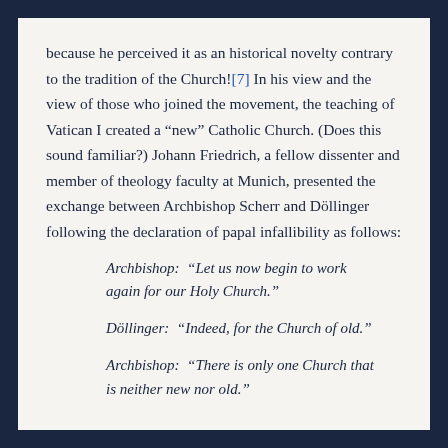because he perceived it as an historical novelty contrary to the tradition of the Church![7] In his view and the view of those who joined the movement, the teaching of Vatican I created a “new” Catholic Church. (Does this sound familiar?) Johann Friedrich, a fellow dissenter and member of theology faculty at Munich, presented the exchange between Archbishop Scherr and Döllinger following the declaration of papal infallibility as follows:
Archbishop: “Let us now begin to work again for our Holy Church.”
Döllinger: “Indeed, for the Church of old.”
Archbishop: “There is only one Church that is neither new nor old.”